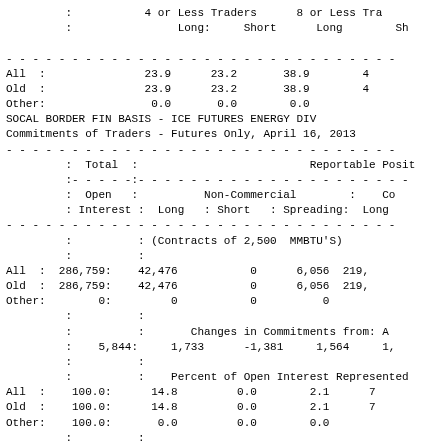|  | 4 or Less Traders Long: | 4 or Less Traders Short | 8 or Less Tra Long | 8 or Less Tra Sh |
| --- | --- | --- | --- | --- |
| All : | 23.9 | 23.2 | 38.9 | 4 |
| Old : | 23.9 | 23.2 | 38.9 | 4 |
| Other: | 0.0 | 0.0 | 0.0 |  |
SOCAL BORDER FIN BASIS - ICE FUTURES ENERGY DIV
Commitments of Traders - Futures Only, April 16, 2013
|  | Total : Open Interest | Non-Commercial Long | Non-Commercial Short | Non-Commercial Spreading | Co Long |
| --- | --- | --- | --- | --- | --- |
|  | (Contracts of 2,500  MMBTU'S) |  |  |  |  |
| All : | 286,759: | 42,476 | 0 | 6,056 | 219, |
| Old : | 286,759: | 42,476 | 0 | 6,056 | 219, |
| Other: | 0: | 0 | 0 | 0 |  |
|  |  | Changes in Commitments from: A |  |  |  |
|  | 5,844: | 1,733 | -1,381 | 1,564 | 1, |
|  |  | Percent of Open Interest Represented |  |  |  |
| All : | 100.0: | 14.8 | 0.0 | 2.1 | 7 |
| Old : | 100.0: | 14.8 | 0.0 | 2.1 | 7 |
| Other: | 100.0: | 0.0 | 0.0 | 0.0 |  |
|  | # Traders : | Number of Traders in Each |  |  |  |